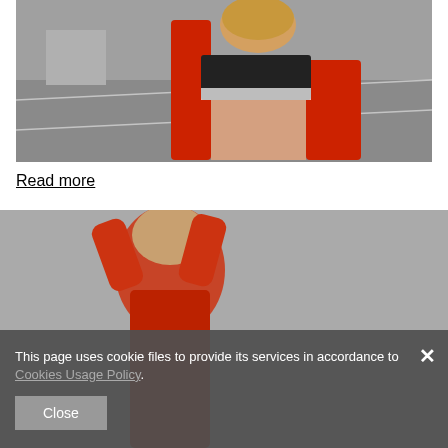[Figure (photo): Young woman in black sports bra and open red jacket in a parking lot, cropped from waist up]
Read more
[Figure (photo): Two women in red outfits, partially visible, blurred in background]
This page uses cookie files to provide its services in accordance to Cookies Usage Policy.
Close